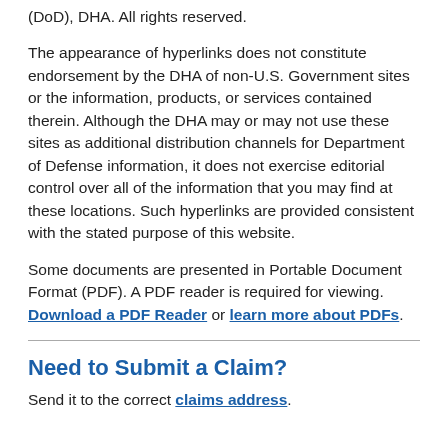(DoD), DHA. All rights reserved.
The appearance of hyperlinks does not constitute endorsement by the DHA of non-U.S. Government sites or the information, products, or services contained therein. Although the DHA may or may not use these sites as additional distribution channels for Department of Defense information, it does not exercise editorial control over all of the information that you may find at these locations. Such hyperlinks are provided consistent with the stated purpose of this website.
Some documents are presented in Portable Document Format (PDF). A PDF reader is required for viewing. Download a PDF Reader or learn more about PDFs.
Need to Submit a Claim?
Send it to the correct claims address.